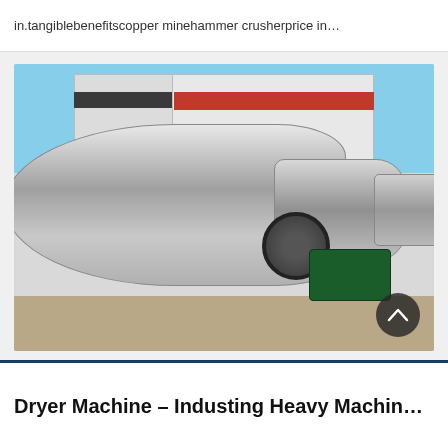in.tangiblebenefitscopper minehammer crusherprice in…
[Figure (photo): Photograph of a large industrial rotary dryer machine lying horizontally on the ground outside a factory building. The machine is a long metal drum with gear rings and a green motor/gearbox unit visible. Building with red roof trim visible in background.]
Dryer Machine - Industing Heavy Machin…